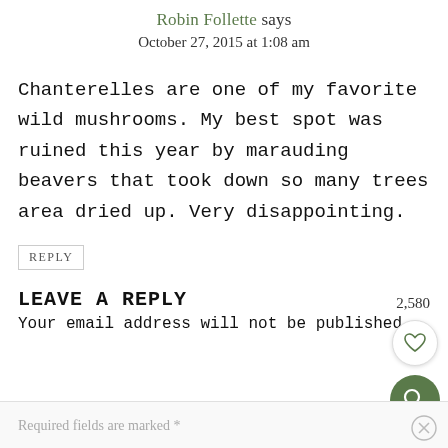Robin Follette says
October 27, 2015 at 1:08 am
Chanterelles are one of my favorite wild mushrooms. My best spot was ruined this year by marauding beavers that took down so many trees area dried up. Very disappointing.
REPLY
2,580
LEAVE A REPLY
Your email address will not be published.
Required fields are marked *